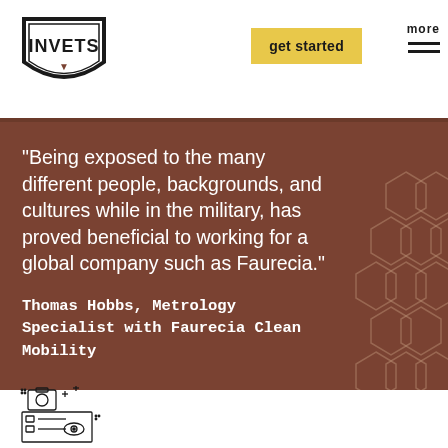[Figure (logo): INVETS logo — shield shape with INVETS text and small anchor/figure icon below]
get started
more
“Being exposed to the many different people, backgrounds, and cultures while in the military, has proved beneficial to working for a global company such as Faurecia.”
Thomas Hobbs, Metrology Specialist with Faurecia Clean Mobility
[Figure (illustration): Line-art icon of a clipboard/camera/checklist with an eye, representing job matching or assessment tool]